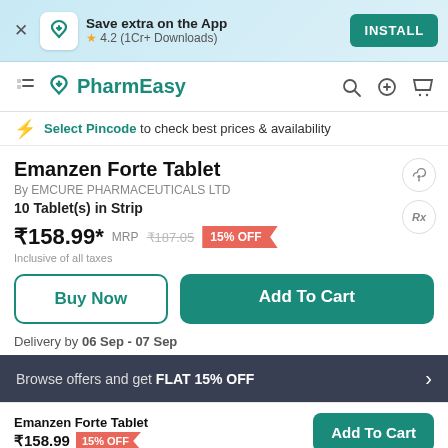Save extra on the App | 4.2 (1Cr+ Downloads) | INSTALL
PharmEasy
Select Pincode to check best prices & availability
Emanzen Forte Tablet
By EMCURE PHARMACEUTICALS LTD
10 Tablet(s) in Strip
₹158.99* MRP ₹187.05 15% OFF
Inclusive of all taxes
Buy Now | Add To Cart
Delivery by 06 Sep - 07 Sep
Browse offers and get FLAT 15% OFF
Emanzen Forte Tablet ₹158.99 15% OFF | Add To Cart